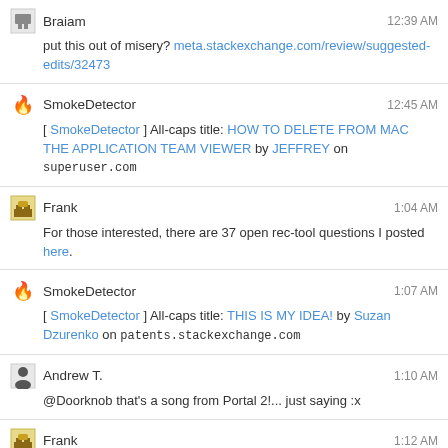Braiam 12:39 AM
put this out of misery? meta.stackexchange.com/review/suggested-edits/32473
SmokeDetector 12:45 AM
[ SmokeDetector ] All-caps title: HOW TO DELETE FROM MAC THE APPLICATION TEAM VIEWER by JEFFREY on superuser.com
Frank 1:04 AM
For those interested, there are 37 open rec-tool questions I posted here.
SmokeDetector 1:07 AM
[ SmokeDetector ] All-caps title: THIS IS MY IDEA! by Suzan Dzurenko on patents.stackexchange.com
Andrew T. 1:10 AM
@Doorknob that's a song from Portal 2!... just saying :x
Frank 1:12 AM
Thanks @animuson.
Andrew T. 1:16 AM
@hichris123 I still don't see factory image for Nexus 4 so... enjoy your Lollipop! :)
hichris123 1:17 AM
@AndrewT. I miss my stock Email app, but other than that it's good. :)
@AndrewT. androidpolice.com/2014/11/13/...